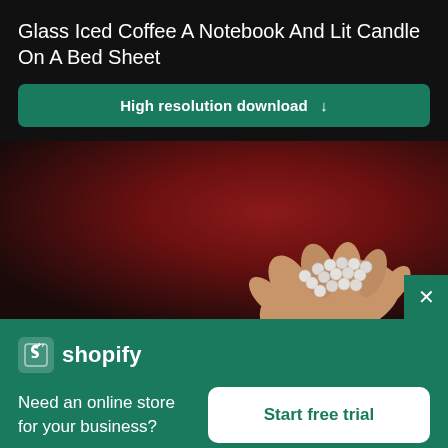Glass Iced Coffee A Notebook And Lit Candle On A Bed Sheet
High resolution download ↓
[Figure (photo): A hand holding a bunch of small white cylindrical objects (possibly pills or pencils) against a dark red/maroon gradient background.]
[Figure (logo): Shopify logo with shopping bag icon and 'shopify' text in white on green background]
Need an online store for your business?
Start free trial